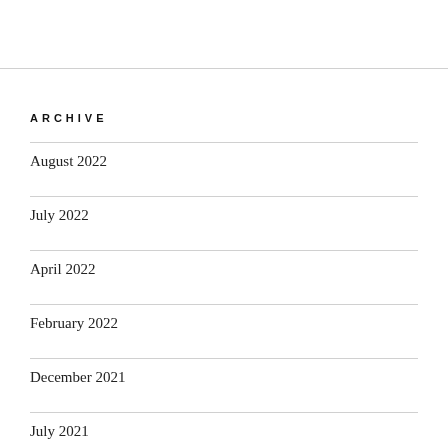ARCHIVE
August 2022
July 2022
April 2022
February 2022
December 2021
July 2021
October 2020